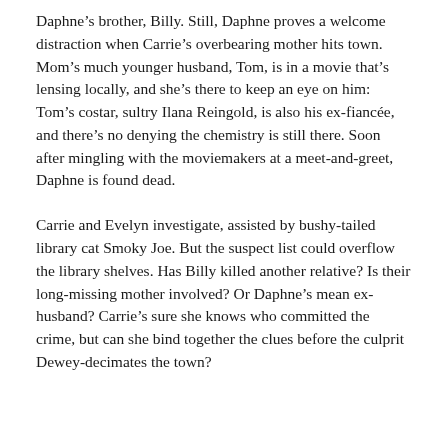Daphne's brother, Billy. Still, Daphne proves a welcome distraction when Carrie's overbearing mother hits town. Mom's much younger husband, Tom, is in a movie that's lensing locally, and she's there to keep an eye on him: Tom's costar, sultry Ilana Reingold, is also his ex-fiancée, and there's no denying the chemistry is still there. Soon after mingling with the moviemakers at a meet-and-greet, Daphne is found dead.
Carrie and Evelyn investigate, assisted by bushy-tailed library cat Smoky Joe. But the suspect list could overflow the library shelves. Has Billy killed another relative? Is their long-missing mother involved? Or Daphne's mean ex-husband? Carrie's sure she knows who committed the crime, but can she bind together the clues before the culprit Dewey-decimates the town?